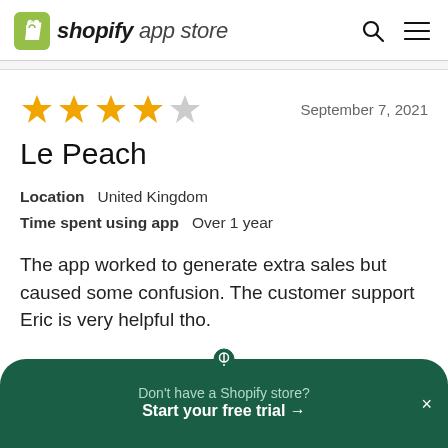shopify app store
September 7, 2021
Le Peach
Location   United Kingdom
Time spent using app   Over 1 year
The app worked to generate extra sales but caused some confusion. The customer support Eric is very helpful tho.
Don't have a Shopify store?
Start your free trial →